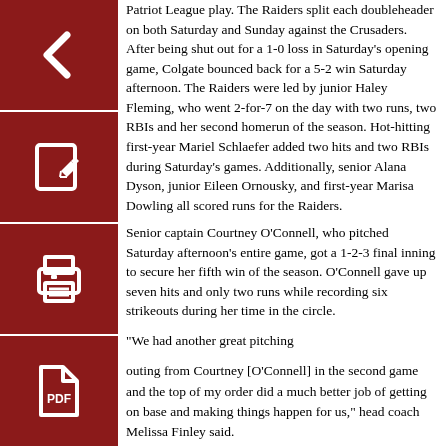[Figure (other): Dark red back arrow navigation button]
[Figure (other): Dark red edit/pencil icon button]
[Figure (other): Dark red print icon button]
[Figure (other): Dark red PDF/document icon button]
Patriot League play. The Raiders split each doubleheader on both Saturday and Sunday against the Crusaders. After being shut out for a 1-0 loss in Saturday's opening game, Colgate bounced back for a 5-2 win Saturday afternoon. The Raiders were led by junior Haley Fleming, who went 2-for-7 on the day with two runs, two RBIs and her second homerun of the season. Hot-hitting first-year Mariel Schlaefer added two hits and two RBIs during Saturday's games. Additionally, senior Alana Dyson, junior Eileen Ornousky, and first-year Marisa Dowling all scored runs for the Raiders.
Senior captain Courtney O'Connell, who pitched Saturday afternoon's entire game, got a 1-2-3 final inning to secure her fifth win of the season. O'Connell gave up seven hits and only two runs while recording six strikeouts during her time in the circle.
“We had another great pitching outing from Courtney [O'Connell] in the second game and the top of my order did a much better job of getting on base and making things happen for us,” head coach Melissa Finley said.
In Sunday’s opening game, the Crusaders were first to get on the scoreboard when they earned a 2-0 advantage in the bottom of the first